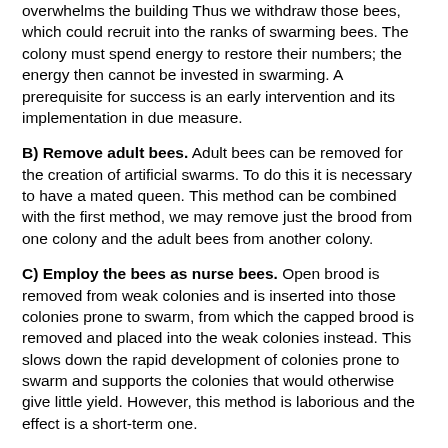overwhelms the building Thus we withdraw those bees, which could recruit into the ranks of swarming bees. The colony must spend energy to restore their numbers; the energy then cannot be invested in swarming. A prerequisite for success is an early intervention and its implementation in due measure.
B) Remove adult bees. Adult bees can be removed for the creation of artificial swarms. To do this it is necessary to have a mated queen. This method can be combined with the first method, we may remove just the brood from one colony and the adult bees from another colony.
C) Employ the bees as nurse bees. Open brood is removed from weak colonies and is inserted into those colonies prone to swarm, from which the capped brood is removed and placed into the weak colonies instead. This slows down the rapid development of colonies prone to swarm and supports the colonies that would otherwise give little yield. However, this method is laborious and the effect is a short-term one.
D) Remove the foraging bees from the colony. It is a method of relocation. In practice, however, it is scarcely used for its The principle of the method is a procedure in which during the full flight of bees, the hive with a swarming mood is placed aside and is